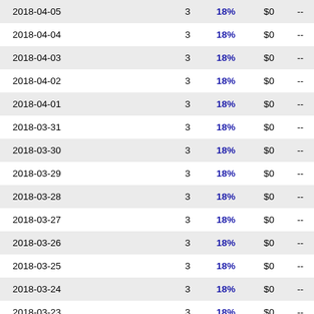| Date |  | Rate | Amount |  |
| --- | --- | --- | --- | --- |
| 2018-04-05 | 3 | 18% | $0 | -- |
| 2018-04-04 | 3 | 18% | $0 | -- |
| 2018-04-03 | 3 | 18% | $0 | -- |
| 2018-04-02 | 3 | 18% | $0 | -- |
| 2018-04-01 | 3 | 18% | $0 | -- |
| 2018-03-31 | 3 | 18% | $0 | -- |
| 2018-03-30 | 3 | 18% | $0 | -- |
| 2018-03-29 | 3 | 18% | $0 | -- |
| 2018-03-28 | 3 | 18% | $0 | -- |
| 2018-03-27 | 3 | 18% | $0 | -- |
| 2018-03-26 | 3 | 18% | $0 | -- |
| 2018-03-25 | 3 | 18% | $0 | -- |
| 2018-03-24 | 3 | 18% | $0 | -- |
| 2018-03-23 | 3 | 18% | $0 | -- |
| 2018-03-22 | 3 | 18% | $0 | -- |
| 2018-03-21 | 3 | 18% | $0 | -- |